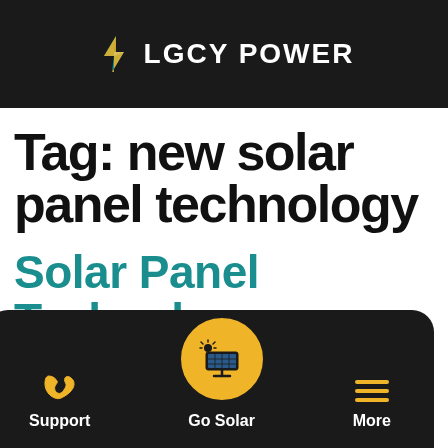LGCY POWER
Tag: new solar panel technology
Solar Panel Technolo…
[Figure (logo): LGCY Power logo with lightning bolt icon in teal and orange on dark background]
[Figure (illustration): Mobile app bottom navigation bar with Support (phone icon), Go Solar (solar panel icon in gold circle), and More (hamburger menu lines)]